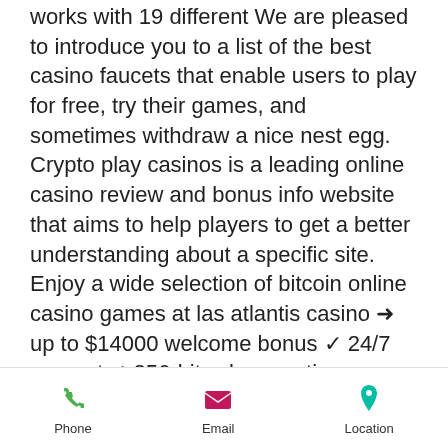works with 19 different We are pleased to introduce you to a list of the best casino faucets that enable users to play for free, try their games, and sometimes withdraw a nice nest egg. Crypto play casinos is a leading online casino review and bonus info website that aims to help players to get a better understanding about a specific site. Enjoy a wide selection of bitcoin online casino games at las atlantis casino ➜ up to $14000 welcome bonus ✓ 24/7 support ✓ 256-bit ssl encryption. Gambling at bitcoin casinos is similar to playing slots and table games with your credit card. You can even play at many of the same sites. Here you'll find the best bitcoin gambling sites &amp; blacklists to avoid. ✓ reviewed by players &amp; trusted experts! ✓ 100% legal &amp; friendly to usa players! Playing bitcoin slots is the best new
Phone | Email | (Location)